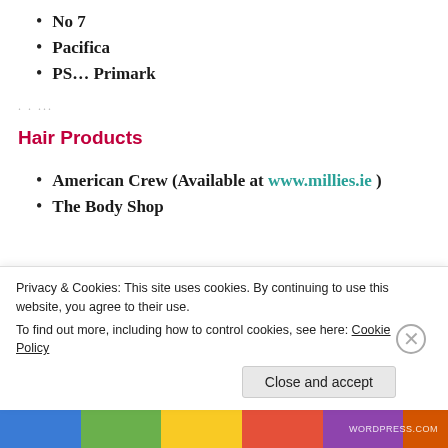No 7
Pacifica
PS… Primark
Hair Products
American Crew (Available at www.millies.ie )
The Body Shop
Privacy & Cookies: This site uses cookies. By continuing to use this website, you agree to their use. To find out more, including how to control cookies, see here: Cookie Policy
Close and accept